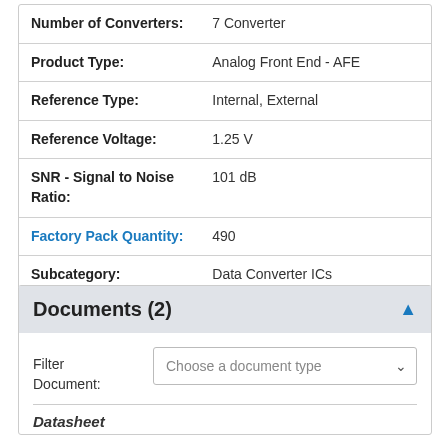| Attribute | Value |
| --- | --- |
| Number of Converters: | 7 Converter |
| Product Type: | Analog Front End - AFE |
| Reference Type: | Internal, External |
| Reference Voltage: | 1.25 V |
| SNR - Signal to Noise Ratio: | 101 dB |
| Factory Pack Quantity: | 490 |
| Subcategory: | Data Converter ICs |
| Unit Weight: | 0.008960 oz |
Documents (2)
Filter Document: Choose a document type
Datasheet